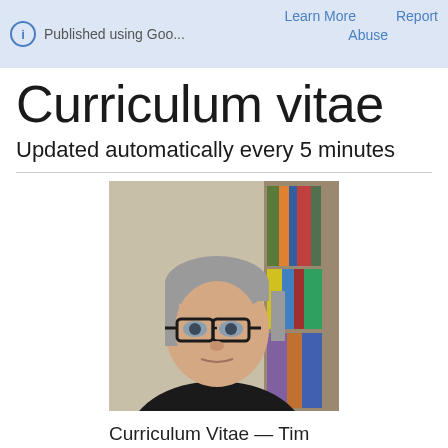Published using Goo...   Learn More   Report   Abuse
Curriculum vitae
Updated automatically every 5 minutes
[Figure (photo): Headshot of Tim McCormick, a middle-aged man with grey hair wearing black-framed glasses and a black shirt, with bookshelves visible in the background.]
Curriculum Vitae — Tim McCormick